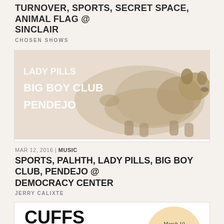TURNOVER, SPORTS, SECRET SPACE, ANIMAL FLAG @ SINCLAIR
CHOSEN SHOWS
[Figure (photo): Sepia-toned photo of a Corgi dog running with concert poster text overlay: LADY PILLS, BIG BOY CLUB, PENDEJO]
MAR 12, 2016 | MUSIC
SPORTS, PALHTH, LADY PILLS, BIG BOY CLUB, PENDEJO @ DEMOCRACY CENTER
JERRY CALIXTE
[Figure (photo): Event poster for CUFFS at Great Scott on March 10 at 9pm, with colorful patterned background at bottom]